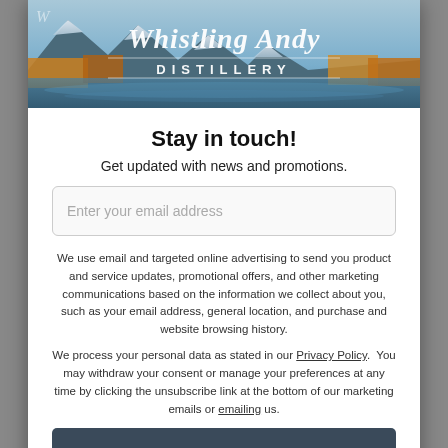[Figure (photo): Whistling Andy Distillery banner with mountain lake landscape background and white script/serif logo text]
Stay in touch!
Get updated with news and promotions.
Enter your email address
We use email and targeted online advertising to send you product and service updates, promotional offers, and other marketing communications based on the information we collect about you, such as your email address, general location, and purchase and website browsing history.
We process your personal data as stated in our Privacy Policy.  You may withdraw your consent or manage your preferences at any time by clicking the unsubscribe link at the bottom of our marketing emails or emailing us.
Subscribe